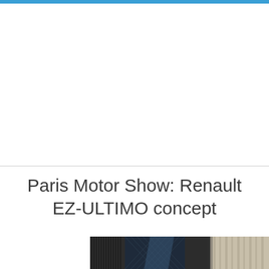Paris Motor Show: Renault EZ-ULTIMO concept
[Figure (photo): Photograph of a building exterior, showing dark glass facade with geometric diamond pattern and classical stone architecture, taken at the Paris Motor Show venue]